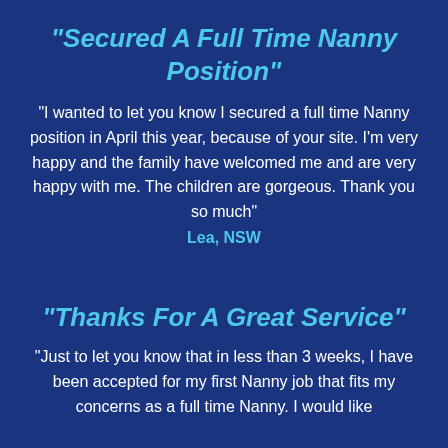"Secured A Full Time Nanny Position"
"I wanted to let you know I secured a full time Nanny position in April this year, because of your site. I'm very happy and the family have welcomed me and are very happy with me. The children are gorgeous. Thank you so much"
Lea, NSW
"Thanks For A Great Service"
"Just to let you know that in less than 3 weeks, I have been accepted for my first Nanny job that fits my needs as a full time Nanny. I would like...